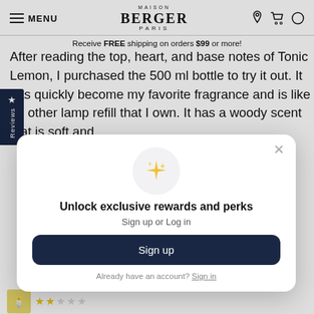MAISON BERGER PARIS — MENU nav header
Receive FREE shipping on orders $99 or more!
After reading the top, heart, and base notes of Tonic Lemon, I purchased the 500 ml bottle to try it out. It has quickly become my favorite fragrance and is like no other lamp refill that I own. It has a woody scent that is soft and
[Figure (screenshot): Unlock exclusive rewards and perks modal popup with sparkle icon, Sign up or Log in text, Sign up dark button, and Already have an account? Sign in link]
Unlock exclusive rewards and perks
Sign up or Log in
Sign up
Already have an account? Sign in